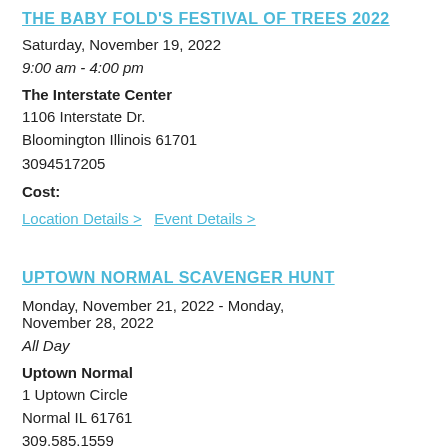THE BABY FOLD'S FESTIVAL OF TREES 2022
Saturday, November 19, 2022
9:00 am - 4:00 pm
The Interstate Center
1106 Interstate Dr.
Bloomington Illinois 61701
3094517205
Cost:
Location Details >  Event Details >
UPTOWN NORMAL SCAVENGER HUNT
Monday, November 21, 2022 - Monday, November 28, 2022
All Day
Uptown Normal
1 Uptown Circle
Normal IL 61761
309.585.1559